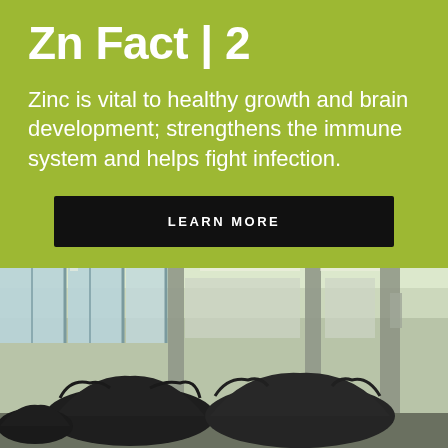Zn Fact | 2
Zinc is vital to healthy growth and brain development; strengthens the immune system and helps fight infection.
LEARN MORE
[Figure (photo): Interior of an industrial facility or showroom with large windows, structural columns, and dark car body frames/shells on display stands on the floor.]